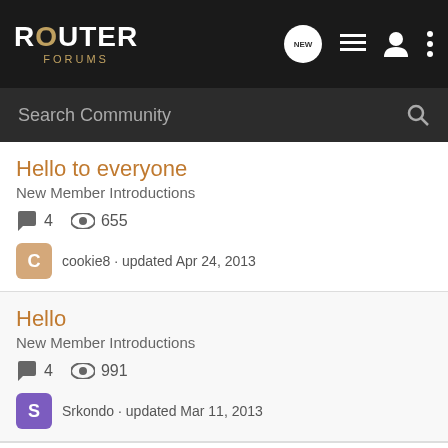ROUTER FORUMS
Search Community
Hello to everyone
New Member Introductions
4 replies · 655 views · cookie8 · updated Apr 24, 2013
Hello
New Member Introductions
4 replies · 991 views · Srkondo · updated Mar 11, 2013
New m
New M
[Figure (screenshot): Advertisement banner: 'They Are Coming!' with rollic logo and Download button]